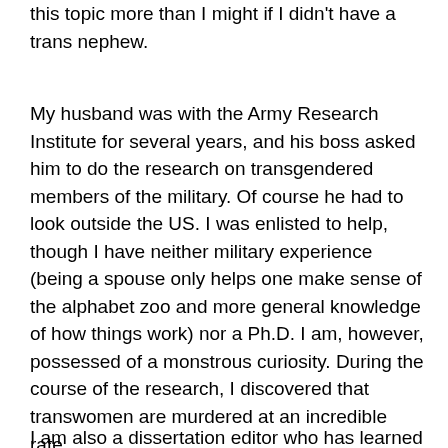this topic more than I might if I didn't have a trans nephew.
My husband was with the Army Research Institute for several years, and his boss asked him to do the research on transgendered members of the military. Of course he had to look outside the US. I was enlisted to help, though I have neither military experience (being a spouse only helps one make sense of the alphabet zoo and more general knowledge of how things work) nor a Ph.D. I am, however, possessed of a monstrous curiosity. During the course of the research, I discovered that transwomen are murdered at an incredible rate.
I am also a dissertation editor who has learned